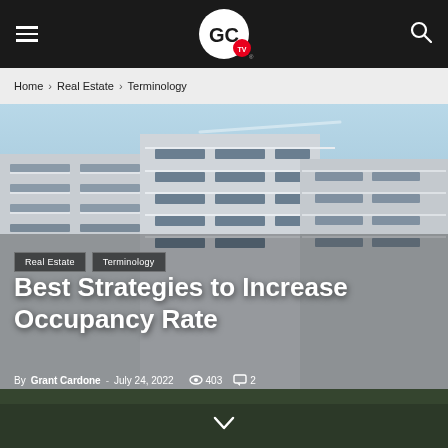GC TV — Navigation bar
Home › Real Estate › Terminology
[Figure (photo): Modern multi-story apartment building with white balconies against a blue sky]
Real Estate   Terminology
Best Strategies to Increase Occupancy Rate
By Grant Cardone - July 24, 2022   403   2